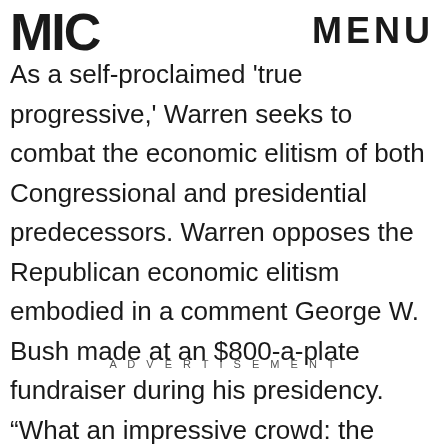MIC  MENU
As a self-proclaimed 'true progressive,' Warren seeks to combat the economic elitism of both Congressional and presidential predecessors. Warren opposes the Republican economic elitism embodied in a comment George W. Bush made at an $800-a-plate fundraiser during his presidency. “What an impressive crowd: the haves, and the have-mores. Some people call you the elite. I call you my base,” the former president quipped.
ADVERTISEMENT